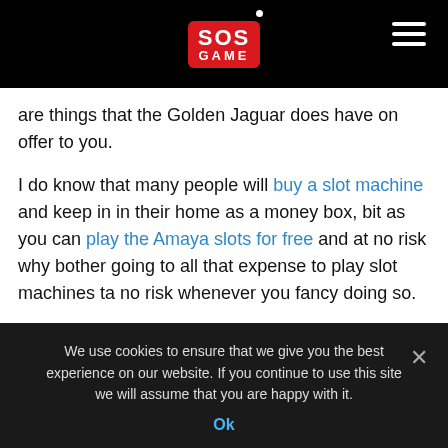SOS GAME (logo with navigation)
are things that the Golden Jaguar does have on offer to you.
I do know that many people will buy a slot machine and keep in in their home as a money box, bit as you can play the Amaya slots for free and at no risk why bother going to all that expense to play slot machines ta no risk whenever you fancy doing so.
Golden Jaguar Slot RTP
The Golden Jaguar Slot has a pay-out percentage of 94.75%.
Golden Jaguar Features
We use cookies to ensure that we give you the best experience on our website. If you continue to use this site we will assume that you are happy with it.